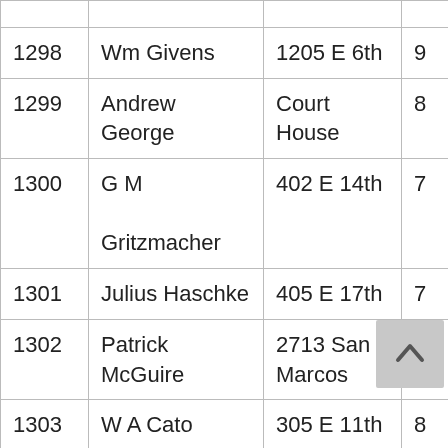| # | Name | Address | Ward |  |
| --- | --- | --- | --- | --- |
| 1298 | Wm Givens | 1205 E 6th | 9 | C |
| 1299 | Andrew George | Court House | 8 | C |
| 1300 | G M Gritzmacher | 402 E 14th | 7 | W |
| 1301 | Julius Haschke | 405 E 17th | 7 | W |
| 1302 | Patrick McGuire | 2713 San Marcos | 6 | W |
| 1303 | W A Cato | 305 E 11th | 8 | W |
| 1304 | Edward Bock | 1503 Lavaca | 4 | W |
| 1305 | ... | ... | ... |  |